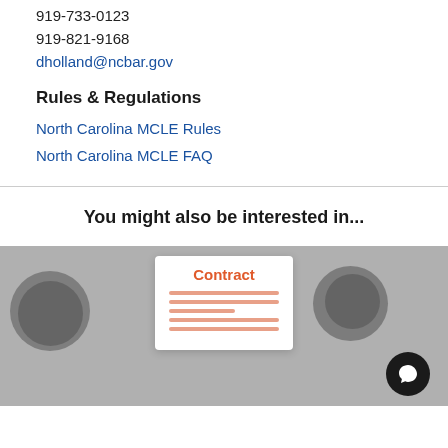919-733-0123
919-821-9168
dholland@ncbar.gov
Rules & Regulations
North Carolina MCLE Rules
North Carolina MCLE FAQ
You might also be interested in...
[Figure (illustration): A contract document card showing the word 'Contract' in orange with orange horizontal lines below it, overlaid on a blurred studio/equipment background image. A chat bubble icon is in the bottom right corner.]